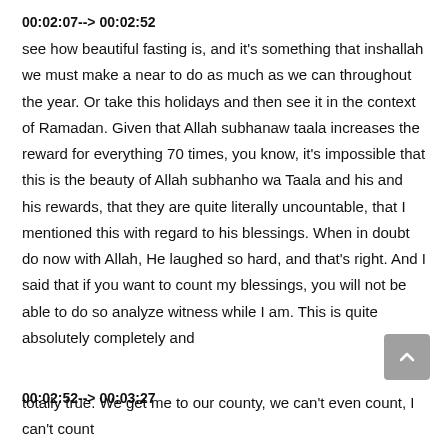00:02:07--> 00:02:52
see how beautiful fasting is, and it's something that inshallah we must make a near to do as much as we can throughout the year. Or take this holidays and then see it in the context of Ramadan. Given that Allah subhanaw taala increases the reward for everything 70 times, you know, it's impossible that this is the beauty of Allah subhanho wa Taala and his and his rewards, that they are quite literally uncountable, that I mentioned this with regard to his blessings. When in doubt do now with Allah, He laughed so hard, and that's right. And I said that if you want to count my blessings, you will not be able to do so analyze witness while I am. This is quite absolutely completely and
00:02:52--> 00:03:27
totally true. We get me to our county, we can't even count, I can't count